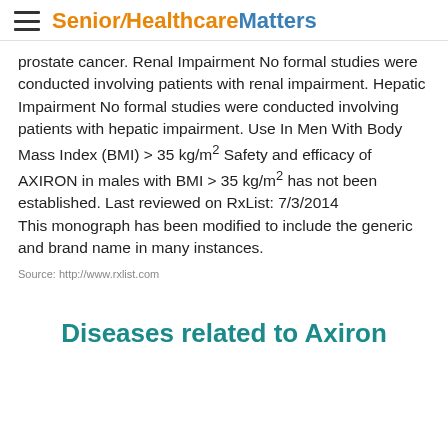Senior Healthcare Matters
prostate cancer. Renal Impairment No formal studies were conducted involving patients with renal impairment. Hepatic Impairment No formal studies were conducted involving patients with hepatic impairment. Use In Men With Body Mass Index (BMI) > 35 kg/m² Safety and efficacy of AXIRON in males with BMI > 35 kg/m² has not been established. Last reviewed on RxList: 7/3/2014
This monograph has been modified to include the generic and brand name in many instances.
Source: http://www.rxlist.com
Diseases related to Axiron